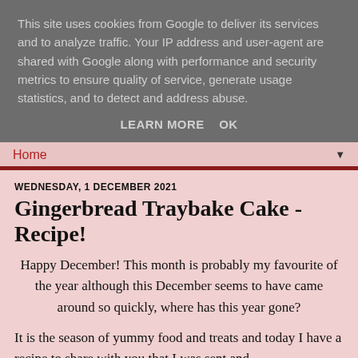This site uses cookies from Google to deliver its services and to analyze traffic. Your IP address and user-agent are shared with Google along with performance and security metrics to ensure quality of service, generate usage statistics, and to detect and address abuse.
LEARN MORE   OK
Home ▼
WEDNESDAY, 1 DECEMBER 2021
Gingerbread Traybake Cake - Recipe!
Happy December! This month is probably my favourite of the year although this December seems to have came around so quickly, where has this year gone?
It is the season of yummy food and treats and today I have a recipe to share with you that I was sent and